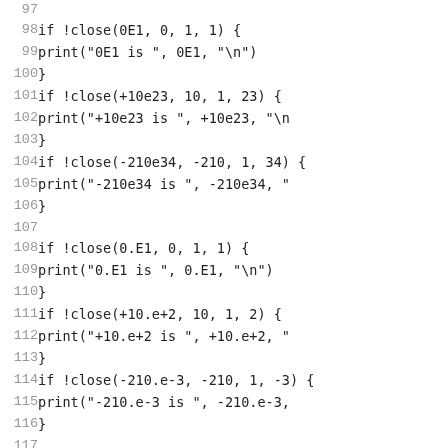Code listing lines 97-117 showing close() function test cases in a programming language